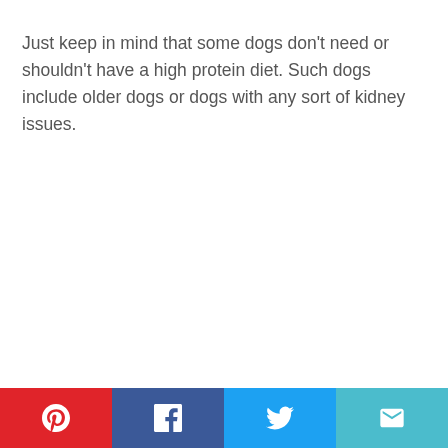Just keep in mind that some dogs don't need or shouldn't have a high protein diet. Such dogs include older dogs or dogs with any sort of kidney issues.
[Figure (infographic): Social share buttons: Pinterest (red), Facebook (dark blue), Twitter (light blue), Email (teal)]